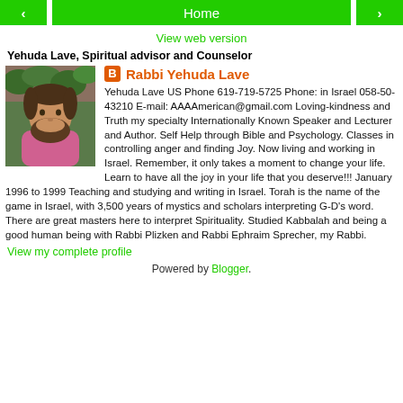< Home >
View web version
Yehuda Lave, Spiritual advisor and Counselor
[Figure (photo): Photo of Rabbi Yehuda Lave, a bearded man wearing a pink shirt, with green foliage in background]
Rabbi Yehuda Lave
Yehuda Lave US Phone 619-719-5725 Phone: in Israel 058-50-43210 E-mail: AAAAmerican@gmail.com Loving-kindness and Truth my specialty Internationally Known Speaker and Lecturer and Author. Self Help through Bible and Psychology. Classes in controlling anger and finding Joy. Now living and working in Israel. Remember, it only takes a moment to change your life. Learn to have all the joy in your life that you deserve!!! January 1996 to 1999 Teaching and studying and writing in Israel. Torah is the name of the game in Israel, with 3,500 years of mystics and scholars interpreting G-D's word. There are great masters here to interpret Spirituality. Studied Kabbalah and being a good human being with Rabbi Plizken and Rabbi Ephraim Sprecher, my Rabbi.
View my complete profile
Powered by Blogger.